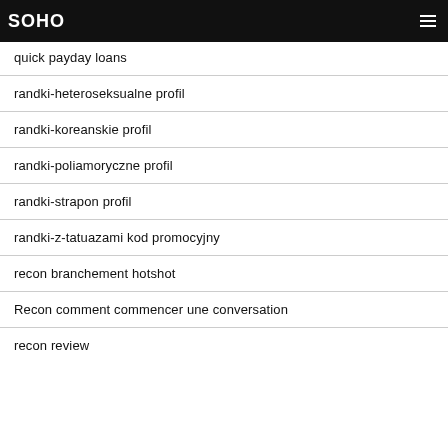SOHO
quick payday loans
randki-heteroseksualne profil
randki-koreanskie profil
randki-poliamoryczne profil
randki-strapon profil
randki-z-tatuazami kod promocyjny
recon branchement hotshot
Recon comment commencer une conversation
recon review